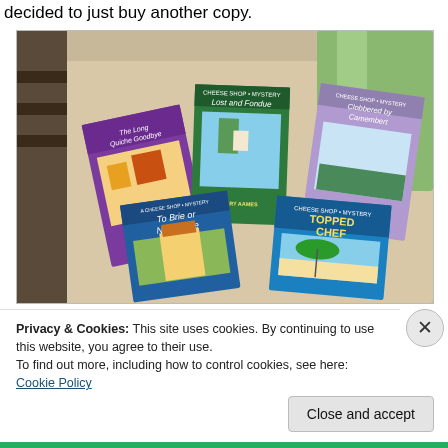decided to just buy another copy.
[Figure (photo): Five book covers by Avery Aames arranged on a surface: The Long Quiche Goodbye, Lost and Fondue, Clobbered by Camembert, To Brie or Not to Brie, and Topped Chef.]
Privacy & Cookies: This site uses cookies. By continuing to use this website, you agree to their use.
To find out more, including how to control cookies, see here: Cookie Policy
Close and accept